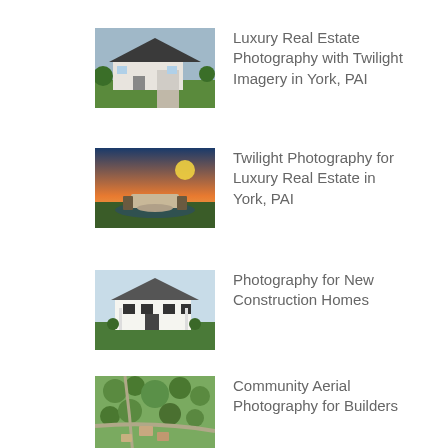[Figure (photo): Thumbnail of a luxury home exterior with dark roof]
Luxury Real Estate Photography with Twilight Imagery in York, PAI
[Figure (photo): Thumbnail of outdoor patio area at twilight with sunset sky]
Twilight Photography for Luxury Real Estate in York, PAI
[Figure (photo): Thumbnail of new construction white farmhouse-style home]
Photography for New Construction Homes
[Figure (photo): Thumbnail of aerial view of a residential community]
Community Aerial Photography for Builders